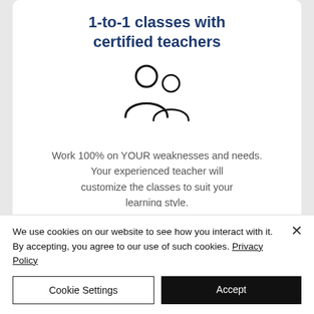1-to-1 classes with certified teachers
[Figure (illustration): Two person silhouette icons representing teacher and student]
Work 100% on YOUR weaknesses and needs. Your experienced teacher will customize the classes to suit your learning style.
Cla... (partially visible)
We use cookies on our website to see how you interact with it. By accepting, you agree to our use of such cookies. Privacy Policy
Cookie Settings
Accept